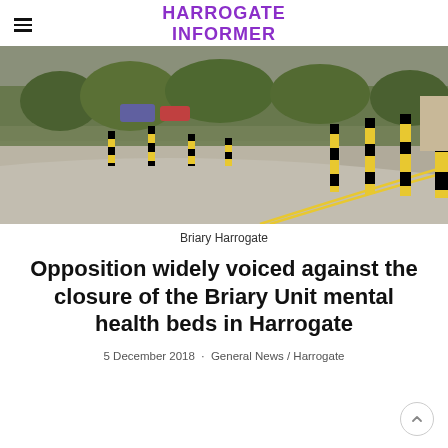HARROGATE INFORMER
[Figure (photo): Outdoor road scene showing yellow and black bollards along a curved driveway or road, with cars and trees visible in the background. This is the Briary Harrogate location.]
Briary Harrogate
Opposition widely voiced against the closure of the Briary Unit mental health beds in Harrogate
5 December 2018 · General News / Harrogate